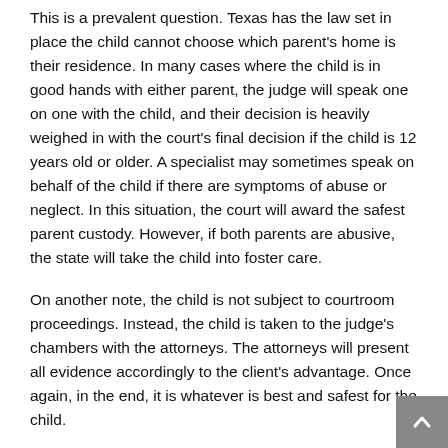This is a prevalent question. Texas has the law set in place the child cannot choose which parent's home is their residence. In many cases where the child is in good hands with either parent, the judge will speak one on one with the child, and their decision is heavily weighed in with the court's final decision if the child is 12 years old or older. A specialist may sometimes speak on behalf of the child if there are symptoms of abuse or neglect. In this situation, the court will award the safest parent custody. However, if both parents are abusive, the state will take the child into foster care.
On another note, the child is not subject to courtroom proceedings. Instead, the child is taken to the judge's chambers with the attorneys. The attorneys will present all evidence accordingly to the client's advantage. Once again, in the end, it is whatever is best and safest for the child.
Does Conservatorship Have to Pass Through the Courts?